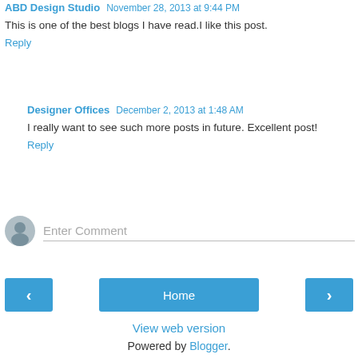ABD Design Studio  November 28, 2013 at 9:44 PM
This is one of the best blogs I have read.I like this post.
Reply
Designer Offices  December 2, 2013 at 1:48 AM
I really want to see such more posts in future. Excellent post!
Reply
[Figure (other): Comment input area with avatar placeholder and Enter Comment text field]
Home
View web version
Powered by Blogger.